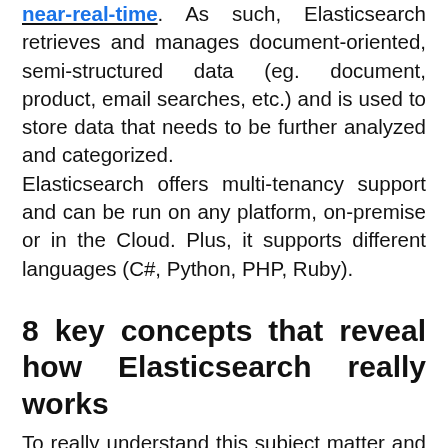near-real-time. As such, Elasticsearch retrieves and manages document-oriented, semi-structured data (eg. document, product, email searches, etc.) and is used to store data that needs to be further analyzed and categorized. Elasticsearch offers multi-tenancy support and can be run on any platform, on-premise or in the Cloud. Plus, it supports different languages (C#, Python, PHP, Ruby).
8 key concepts that reveal how Elasticsearch really works
To really understand this subject matter and what's really going on behind the scenes, it's critical to learn the terminology and concepts